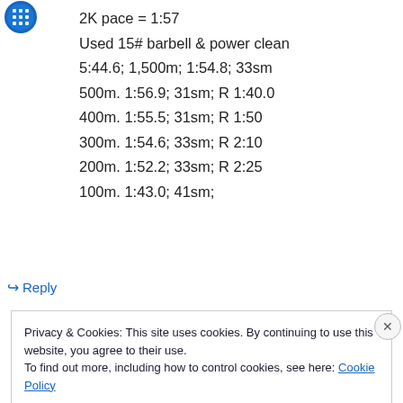[Figure (logo): Blue circular avatar/icon in top left corner]
2K pace = 1:57
Used 15# barbell & power clean
5:44.6; 1,500m; 1:54.8; 33sm
500m. 1:56.9; 31sm; R 1:40.0
400m. 1:55.5; 31sm; R 1:50
300m. 1:54.6; 33sm; R 2:10
200m. 1:52.2; 33sm; R 2:25
100m. 1:43.0; 41sm;
↳ Reply
Privacy & Cookies: This site uses cookies. By continuing to use this website, you agree to their use.
To find out more, including how to control cookies, see here: Cookie Policy